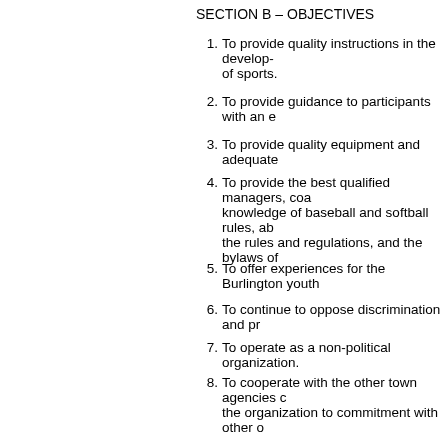SECTION B – OBJECTIVES
1. To provide quality instructions in the develop- of sports.
2. To provide guidance to participants with an e
3. To provide quality equipment and adequate
4. To provide the best qualified managers, coa- knowledge of baseball and softball rules, ab- the rules and regulations, and the bylaws of
5. To offer experiences for the Burlington youth
6. To continue to oppose discrimination and pr-
7. To operate as a non-political organization.
8. To cooperate with the other town agencies c- the organization to commitment with other o-
SECTION A
The membership of the BBSA shall be defined as volunteers as voted on or appointed by the Board
SECTION B